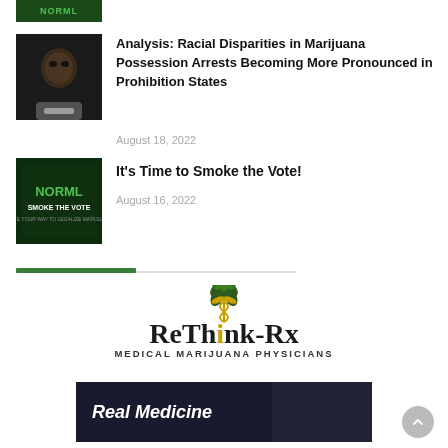[Figure (photo): Partial NORML logo/banner image at top, cropped]
[Figure (photo): Close-up of a person with handcuffs, dark photo]
Analysis: Racial Disparities in Marijuana Possession Arrests Becoming More Pronounced in Prohibition States
August 18, 2022
[Figure (photo): NORML Smoke the Vote dark green graphic]
It’s Time to Smoke the Vote!
August 16, 2022
[Figure (logo): ReThink-Rx Medical Marijuana Physicians logo with caduceus and cannabis leaf]
[Figure (photo): Advertisement banner with text 'Real Medicine' and doctor in white coat]